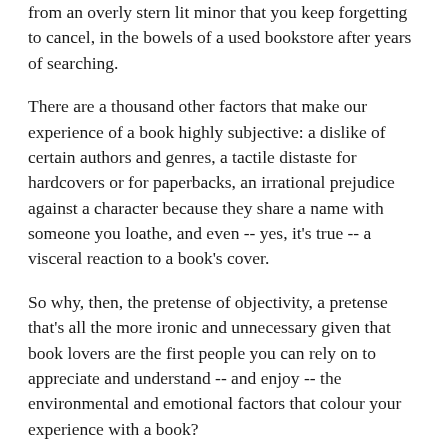from an overly stern lit minor that you keep forgetting to cancel, in the bowels of a used bookstore after years of searching.
There are a thousand other factors that make our experience of a book highly subjective: a dislike of certain authors and genres, a tactile distaste for hardcovers or for paperbacks, an irrational prejudice against a character because they share a name with someone you loathe, and even -- yes, it's true -- a visceral reaction to a book's cover.
So why, then, the pretense of objectivity, a pretense that's all the more ironic and unnecessary given that book lovers are the first people you can rely on to appreciate and understand -- and enjoy -- the environmental and emotional factors that colour your experience with a book?
Here's another thing about so-called book reviews: why is it so damn hard for reviewers just to come out and say if the book was good or not? Really, isn't that kind of the point of a book review? I don't need to